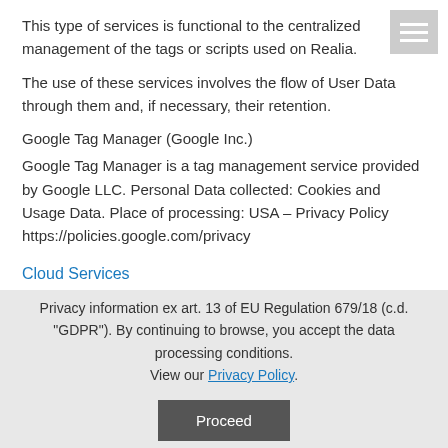This type of services is functional to the centralized management of the tags or scripts used on Realia.
The use of these services involves the flow of User Data through them and, if necessary, their retention.
Google Tag Manager (Google Inc.)
Google Tag Manager is a tag management service provided by Google LLC. Personal Data collected: Cookies and Usage Data. Place of processing: USA – Privacy Policy https://policies.google.com/privacy
Cloud Services
Realia S.r.l. it uses Service cloud platforms that can potentially
Privacy information ex art. 13 of EU Regulation 679/18 (c.d. "GDPR"). By continuing to browse, you accept the data processing conditions. View our Privacy Policy.
Proceed